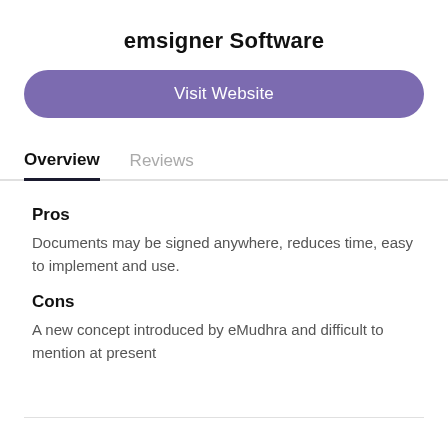emsigner Software
Visit Website
Overview
Reviews
Pros
Documents may be signed anywhere, reduces time, easy to implement and use.
Cons
A new concept introduced by eMudhra and difficult to mention at present